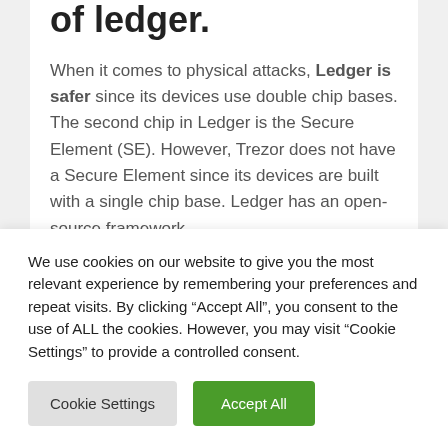of ledger.
When it comes to physical attacks, Ledger is safer since its devices use double chip bases. The second chip in Ledger is the Secure Element (SE). However, Trezor does not have a Secure Element since its devices are built with a single chip base. Ledger has an open-source framework.
We use cookies on our website to give you the most relevant experience by remembering your preferences and repeat visits. By clicking “Accept All”, you consent to the use of ALL the cookies. However, you may visit “Cookie Settings” to provide a controlled consent.